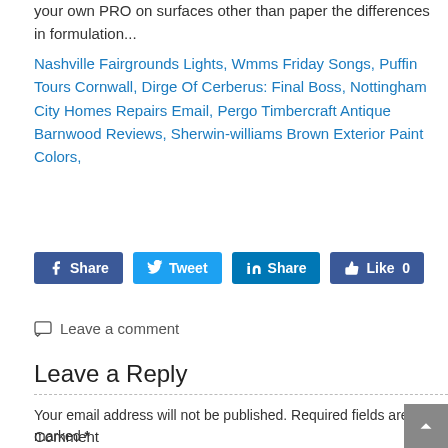your own PRO on surfaces other than paper the differences in formulation...
Nashville Fairgrounds Lights, Wmms Friday Songs, Puffin Tours Cornwall, Dirge Of Cerberus: Final Boss, Nottingham City Homes Repairs Email, Pergo Timbercraft Antique Barnwood Reviews, Sherwin-williams Brown Exterior Paint Colors,
[Figure (other): Social share buttons: Facebook Share, Twitter Tweet, LinkedIn Share, Facebook Like 0]
Leave a comment
Leave a Reply
Your email address will not be published. Required fields are marked *
Comment